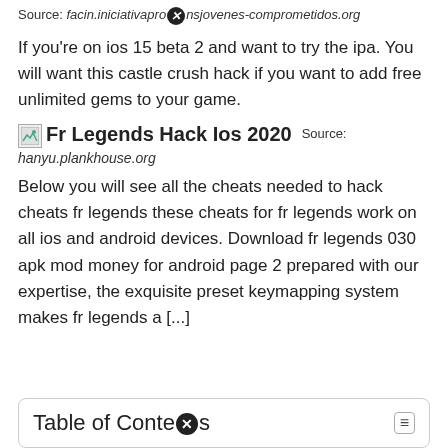Source: facin.iniciativapromsjovenes-comprometidos.org
If you're on ios 15 beta 2 and want to try the ipa. You will want this castle crush hack if you want to add free unlimited gems to your game.
[Figure (other): Broken image placeholder followed by text 'Fr Legends Hack Ios 2020' and Source: hanyu.plankhouse.org]
Below you will see all the cheats needed to hack cheats fr legends these cheats for fr legends work on all ios and android devices. Download fr legends 030 apk mod money for android page 2 prepared with our expertise, the exquisite preset keymapping system makes fr legends a [...]
Table of Contents